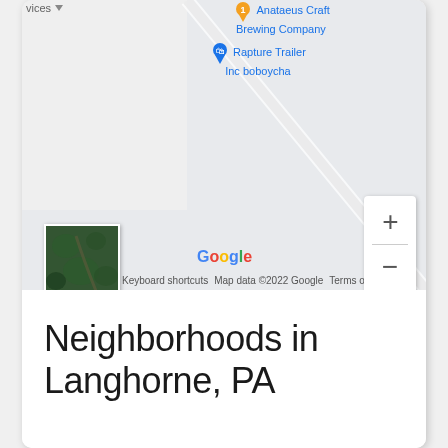[Figure (map): Google Maps screenshot showing partial map view with business labels: 'vices' with dropdown arrow, 'Anataeus Craft Brewing Company' with orange pin marker (numbered 1), 'Rapture Trailer Inc boboycha' with blue shopping bag pin, diagonal road visible, satellite thumbnail in lower left, zoom controls (+/-) on right, Google logo, 'Keyboard shortcuts', 'Map data ©2022 Google', 'Terms of Use' in bottom bar.]
Neighborhoods in Langhorne, PA